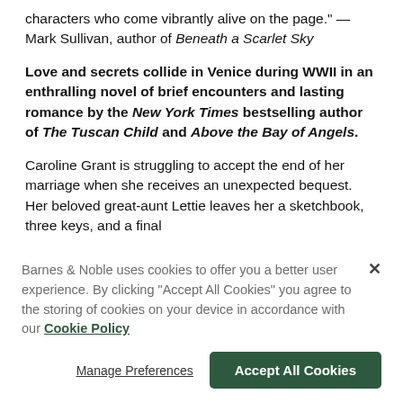characters who come vibrantly alive on the page." —Mark Sullivan, author of Beneath a Scarlet Sky
Love and secrets collide in Venice during WWII in an enthralling novel of brief encounters and lasting romance by the New York Times bestselling author of The Tuscan Child and Above the Bay of Angels.
Caroline Grant is struggling to accept the end of her marriage when she receives an unexpected bequest. Her beloved great-aunt Lettie leaves her a sketchbook, three keys, and a final
Barnes & Noble uses cookies to offer you a better user experience. By clicking "Accept All Cookies" you agree to the storing of cookies on your device in accordance with our Cookie Policy